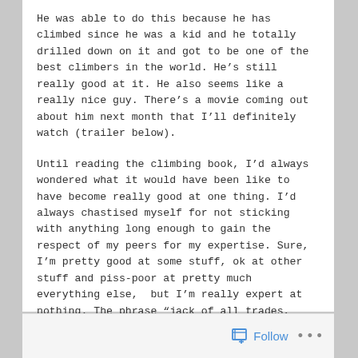He was able to do this because he has climbed since he was a kid and he totally drilled down on it and got to be one of the best climbers in the world. He’s still really good at it. He also seems like a really nice guy. There’s a movie coming out about him next month that I’ll definitely watch (trailer below).
Until reading the climbing book, I’d always wondered what it would have been like to have become really good at one thing. I’d always chastised myself for not sticking with anything long enough to gain the respect of my peers for my expertise. Sure, I’m pretty good at some stuff, ok at other stuff and piss-poor at pretty much everything else,  but I’m really expert at nothing. The phrase “jack of all trades, master of none” has always sat just on my periphery, haunting me.
Follow ...